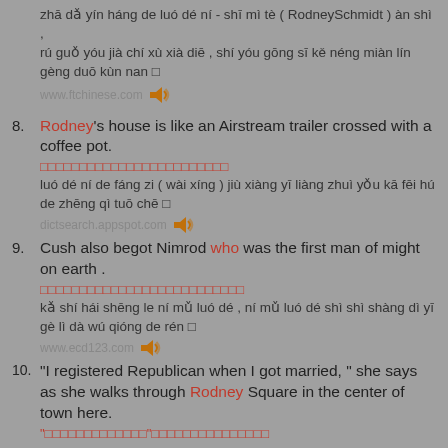zhā dǎ yín háng de luó dé ní - shī mì tè ( RodneySchmidt ) àn shì , rú guǒ yóu jià chí xù xià diē , shí yóu gōng sī kě néng miàn lín gèng duō kùn nan □
www.ftchinese.com
8. Rodney's house is like an Airstream trailer crossed with a coffee pot.
□□□□□□□□□□□□□□□□□□□□□□□□
luó dé ní de fáng zi ( wài xíng ) jiù xiàng yī liàng zhuì yǒu kā fēi hú de zhēng qì tuō chē □
dictsearch.appspot.com
9. Cush also begot Nimrod who was the first man of might on earth .
□□□□□□□□□□□□□□□□□□□□□□□□□
kǎ shí hái shēng le ní mǔ luó dé , ní mǔ luó dé shì shì shàng dì yī gè lì dà wú qióng de rén □
www.ecd123.com
10. "I registered Republican when I got married, " she says as she walks through Rodney Square in the center of town here.
"□□□□□□□□□□□□□"□□□□□□□□□□□□□□